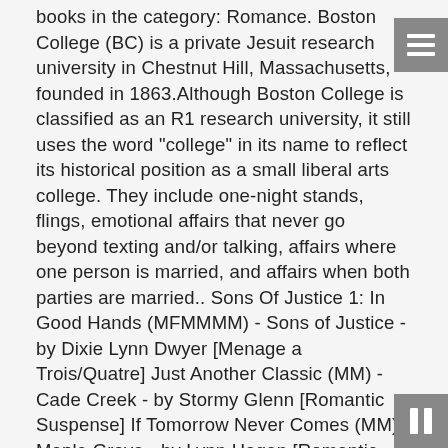books in the category: Romance. Boston College (BC) is a private Jesuit research university in Chestnut Hill, Massachusetts, founded in 1863.Although Boston College is classified as an R1 research university, it still uses the word "college" in its name to reflect its historical position as a small liberal arts college. They include one-night stands, flings, emotional affairs that never go beyond texting and/or talking, affairs where one person is married, and affairs when both parties are married.. Sons Of Justice 1: In Good Hands (MFMMMM) - Sons of Justice - by Dixie Lynn Dwyer [Menage a Trois/Quatre] Just Another Classic (MM) - Cade Creek - by Stormy Glenn [Romantic Suspense] If Tomorrow Never Comes (MM) - Maple Grove - by Lynn Hagen [Romantic Suspense] Dakota Dawn (MFM) - Dakota Heat - by Leah Brooke [Menage a Trois/Quatre] On Saturday, 13 Mass. TOP BOSTON CRIME NOVELS by Thomas O'Malley and Douglas Graham Purdy, authors of Serpents in the Cold and We Were Kings. According to